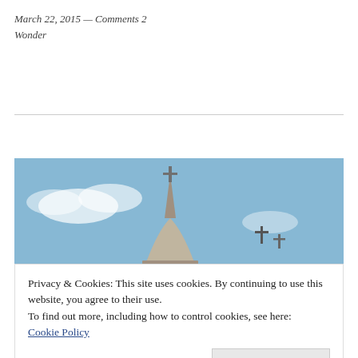March 22, 2015 — Comments 2
Wonder
[Figure (photo): Photograph of a church tower/steeple with a dome and cross against a blue sky, with another cross visible to the right]
Privacy & Cookies: This site uses cookies. By continuing to use this website, you agree to their use.
To find out more, including how to control cookies, see here: Cookie Policy
Close and accept